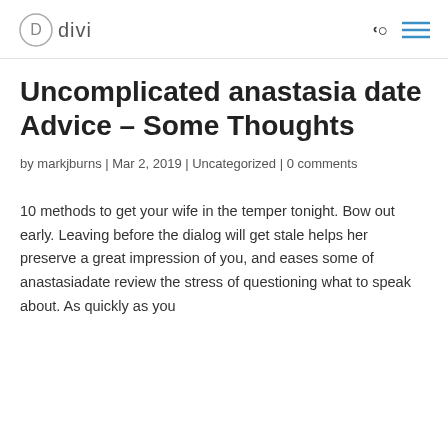divi
Uncomplicated anastasia date Advice – Some Thoughts
by markjburns | Mar 2, 2019 | Uncategorized | 0 comments
10 methods to get your wife in the temper tonight. Bow out early. Leaving before the dialog will get stale helps her preserve a great impression of you, and eases some of anastasiadate review the stress of questioning what to speak about. As quickly as you